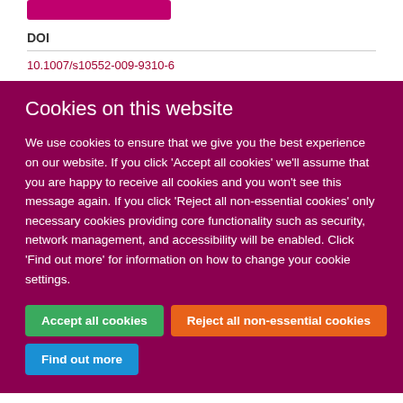DOI
10.1007/s10552-009-9310-6
Cookies on this website
We use cookies to ensure that we give you the best experience on our website. If you click 'Accept all cookies' we'll assume that you are happy to receive all cookies and you won't see this message again. If you click 'Reject all non-essential cookies' only necessary cookies providing core functionality such as security, network management, and accessibility will be enabled. Click 'Find out more' for information on how to change your cookie settings.
Accept all cookies
Reject all non-essential cookies
Find out more